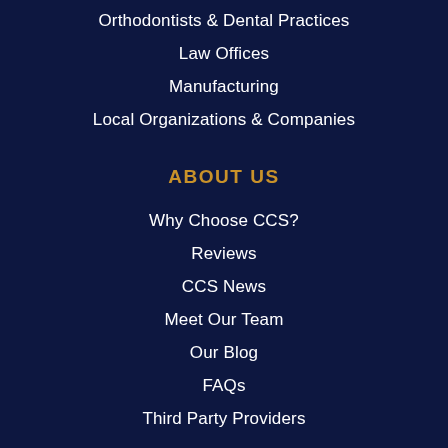Orthodontists & Dental Practices
Law Offices
Manufacturing
Local Organizations & Companies
ABOUT US
Why Choose CCS?
Reviews
CCS News
Meet Our Team
Our Blog
FAQs
Third Party Providers